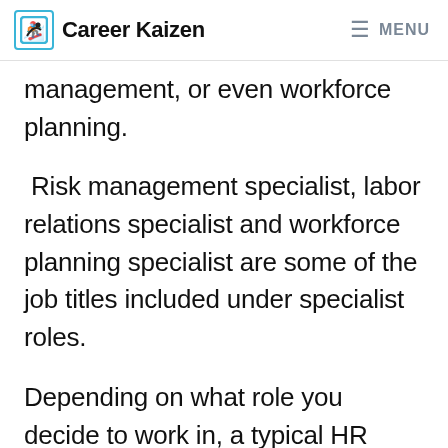Career Kaizen  MENU
management, or even workforce planning.
Risk management specialist, labor relations specialist and workforce planning specialist are some of the job titles included under specialist roles.
Depending on what role you decide to work in, a typical HR professional's career path may look